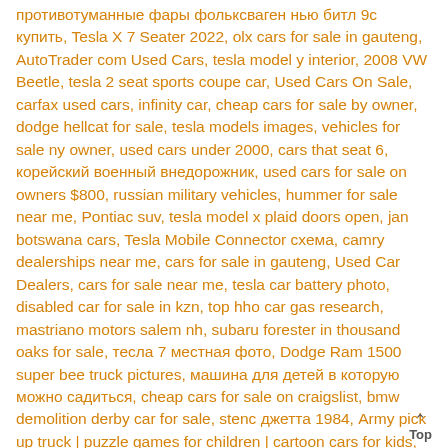противотуманные фары фольксваген нью битл 9с купить, Tesla X 7 Seater 2022, olx cars for sale in gauteng, AutoTrader com Used Cars, tesla model y interior, 2008 VW Beetle, tesla 2 seat sports coupe car, Used Cars On Sale, carfax used cars, infinity car, cheap cars for sale by owner, dodge hellcat for sale, tesla models images, vehicles for sale ny owner, used cars under 2000, cars that seat 6, корейский военный внедорожник, used cars for sale on owners $800, russian military vehicles, hummer for sale near me, Pontiac suv, tesla model x plaid doors open, jan botswana cars, Tesla Mobile Connector схема, camry dealerships near me, cars for sale in gauteng, Used Car Dealers, cars for sale near me, tesla car battery photo, disabled car for sale in kzn, top hho car gas research, mastriano motors salem nh, subaru forester in thousand oaks for sale, тесла 7 местная фото, Dodge Ram 1500 super bee truck pictures, машина для детей в которую можно садиться, cheap cars for sale on craigslist, bmw demolition derby car for sale, stenc джетта 1984, Army pick up truck | puzzle games for children | cartoon cars for kids, Sd Kfz 7, tesla school bus
Top